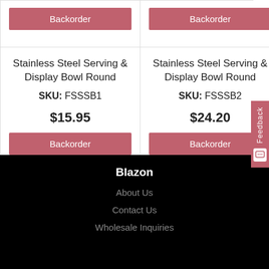| [Backorder button] | [Backorder button] |
| Stainless Steel Serving & Display Bowl Round
SKU: FSSSB1
$15.95
[Backorder button] | Stainless Steel Serving & Display Bowl Round
SKU: FSSSB2
$24.20
[Backorder button] |
Blazon
About Us
Contact Us
Wholesale Inquiries